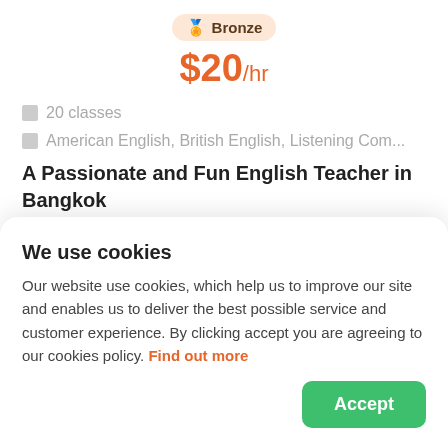Bronze
$20/hr
20 classes
American English, British English, Listening Com...
A Passionate and Fun English Teacher in Bangkok
Hello, I'm Teacher Joanna. I'm an ESL teacher here in Bangkok for 4 years. I have taught English
We use cookies
Our website use cookies, which help us to improve our site and enables us to deliver the best possible service and customer experience. By clicking accept you are agreeing to our cookies policy. Find out more
Accept